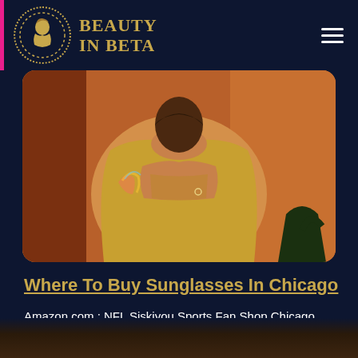BEAUTY IN BETA
[Figure (photo): Woman wearing a golden/yellow strapless dress, hands clasped over chest, with a rainbow light effect on her arm, warm orange background]
Where To Buy Sunglasses In Chicago
Amazon.com : NFL Siskiyou Sports Fan Shop Chicago Bears Edge Wrap Sunglasses One Size Team Color : Sports & Outdoors. ...
[Figure (photo): Partial view of a person, bottom portion of page cropped]